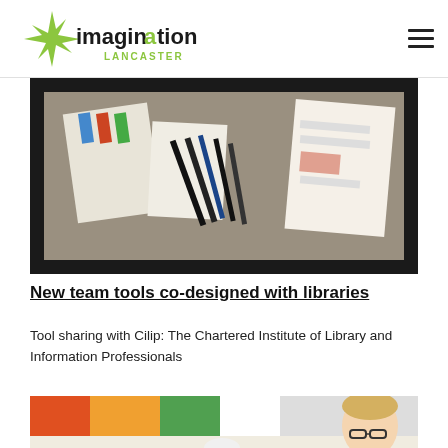Imagination Lancaster
[Figure (photo): A desk with markers/pens and printed cards/sheets spread out, design workshop tools scene, dark border]
New team tools co-designed with libraries
Tool sharing with Cilip: The Chartered Institute of Library and Information Professionals
[Figure (photo): A woman with glasses leaning over a large sheet of paper with handwritten notes, a mug on the table, colorful markers in foreground]